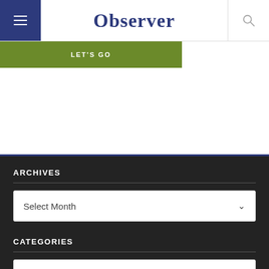Observer
LET'S GO
ARCHIVES
Select Month
CATEGORIES
Select Category
DOWNLOAD NEWSPAPERS
Subscriptions